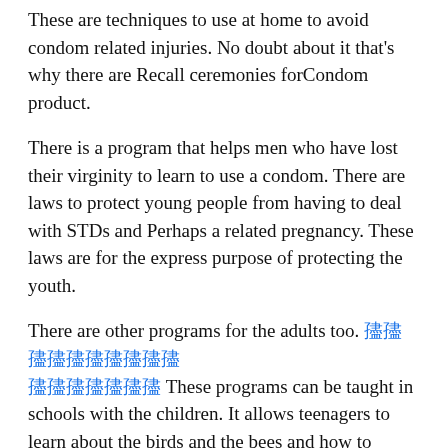These are techniques to use at home to avoid condom related injuries. No doubt about it that's why there are Recall ceremonies forCondom product.
There is a program that helps men who have lost their virginity to learn to use a condom. There are laws to protect young people from having to deal with STDs and Perhaps a related pregnancy. These laws are for the express purpose of protecting the youth.
There are other programs for the adults too. [linked text] These programs can be taught in schools with the children. It allows teenagers to learn about the birds and the bees and how to please their parents. It is for well maintained families that these laws are put in place.
Adults want to send their kids to school and pick up their kids from school and drop them off at home for the next errand without having to walk those few steps in to town.